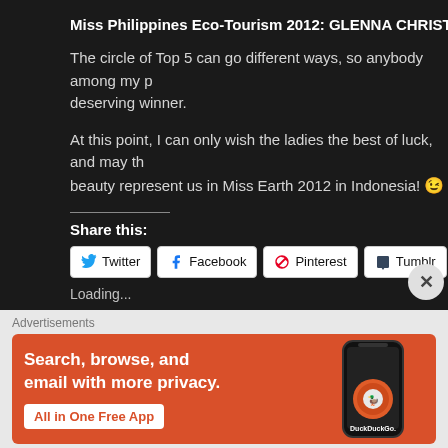Miss Philippines Eco-Tourism 2012: GLENNA CHRISTINA DU...
The circle of Top 5 can go different ways, so anybody among my p... deserving winner.
At this point, I can only wish the ladies the best of luck, and may th... beauty represent us in Miss Earth 2012 in Indonesia! 😉
Share this:
Twitter | Facebook | Pinterest | Tumblr | Email
Loading...
[Figure (screenshot): DuckDuckGo advertisement banner: Search, browse, and email with more privacy. All in One Free App. Shows phone with DuckDuckGo logo.]